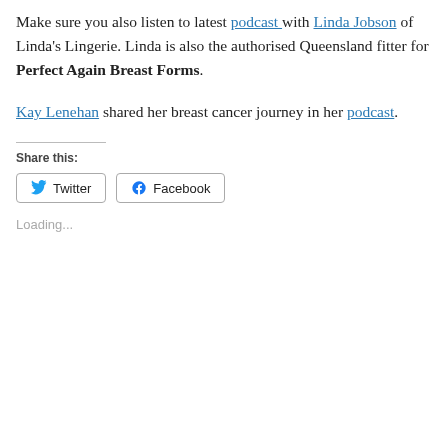Make sure you also listen to latest podcast with Linda Jobson of Linda's Lingerie. Linda is also the authorised Queensland fitter for Perfect Again Breast Forms.
Kay Lenehan shared her breast cancer journey in her podcast.
Share this:
Loading...